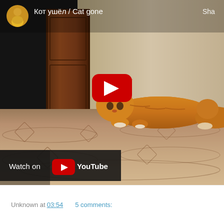[Figure (screenshot): YouTube video thumbnail showing an orange tabby cat lying on a patterned carpet in a room with a dark wood door. The video title is 'Кот ушёл / Cat gone' with a channel avatar in the top left. A red YouTube play button is centered over the image. A 'Watch on YouTube' bar appears at the bottom left of the video frame.]
Unknown at 03:54    5 comments: